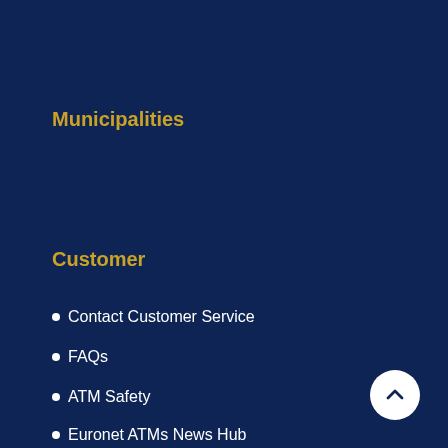Municipalities
Customer
Contact Customer Service
FAQs
ATM Safety
Euronet ATMs News Hub
[Figure (other): Back to top button — white circle with upward chevron arrow]